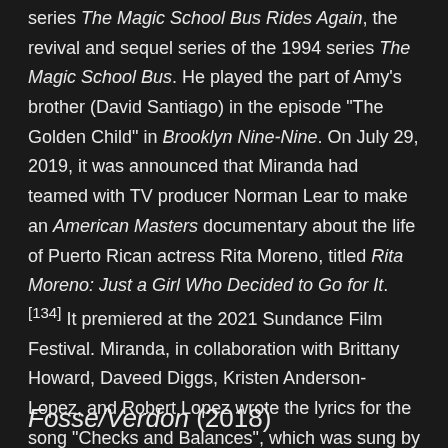series The Magic School Bus Rides Again, the revival and sequel series of the 1994 series The Magic School Bus. He played the part of Amy's brother (David Santiago) in the episode "The Golden Child" in Brooklyn Nine-Nine. On July 29, 2019, it was announced that Miranda had teamed with TV producer Norman Lear to make an American Masters documentary about the life of Puerto Rican actress Rita Moreno, titled Rita Moreno: Just a Girl Who Decided to Go for It.[134] It premiered at the 2021 Sundance Film Festival. Miranda, in collaboration with Brittany Howard, Daveed Diggs, Kristen Anderson-Lopez, and Robert Lopez wrote the lyrics for the song "Checks and Balances", which was sung by Benjy Brooke for the 2021 Netflix animated series We the People.[135]
Fosse/Verdon (2018)